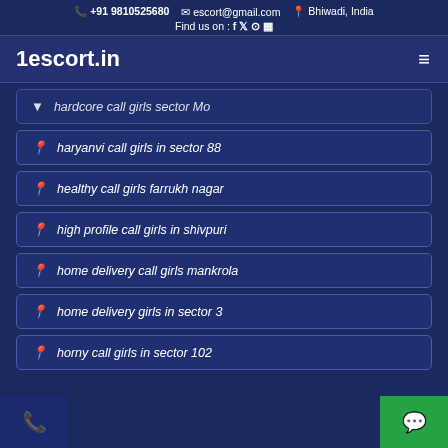+91 9810525680  escort@gmail.com  Bhiwadi, India  Find us on : [social icons]
1escort.in
hardcore call girls sector Mo
haryanvi call girls in sector 88
healthy call girls farrukh nagar
high profile call girls in shivpuri
home delivery call girls mankrola
home delivery girls in sector 3
horny call girls in sector 102